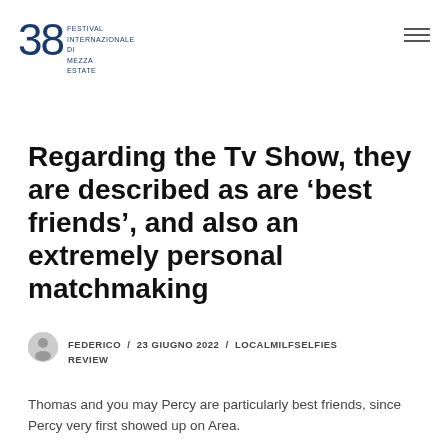38 FESTIVAL INTERNAZIONALE DI MEZZA ESTATE
Regarding the Tv Show, they are described as are ‘best friends’, and also an extremely personal matchmaking
FEDERICO / 23 GIUGNO 2022 / LOCALMILFSELFIES REVIEW
Thomas and you may Percy are particularly best friends, since Percy very first showed up on Area.